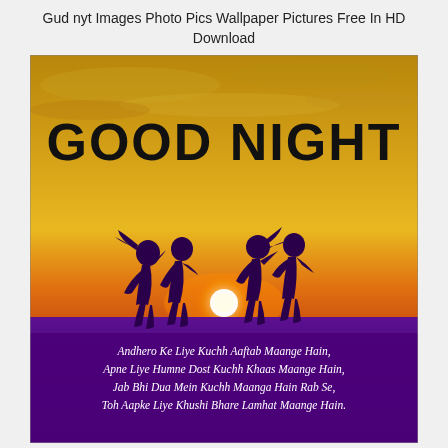Gud nyt Images Photo Pics Wallpaper Pictures Free In HD Download
[Figure (photo): A Good Night wallpaper image showing silhouettes of four friends dancing/jumping against a vivid sunset sky with orange, yellow, and purple gradient. Text 'GOOD NIGHT' in large black bold letters at the top of the image. Below in a purple/dark section, white script text reads: 'Andhero Ke Liye Kuchh Aaftab Maange Hain, Apne Liye Humne Dost Kuchh Khaas Maange Hain, Jab Bhi Dua Mein Kuchh Maanga Hain Rab Se, Toh Aapke Liye Khushi Bhare Lamhat Maange Hain.']